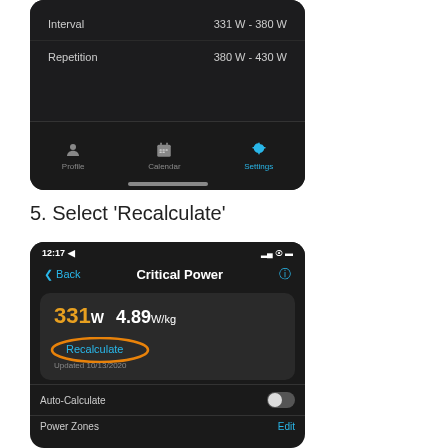[Figure (screenshot): Mobile app screenshot showing training zone rows: Interval 331W-380W, Repetition 380W-430W, with bottom tab bar showing Profile, Calendar, Settings tabs]
5. Select 'Recalculate'
[Figure (screenshot): Mobile app screenshot of Critical Power screen showing 331W and 4.89W/kg values, Recalculate button circled in orange, Updated 10/13/2020, Auto-Calculate toggle off, Power Zones row with Edit link]